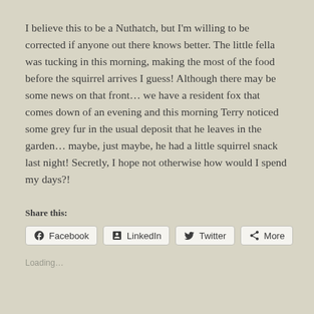I believe this to be a Nuthatch, but I'm willing to be corrected if anyone out there knows better.  The little fella was tucking in this morning, making the most of the food before the squirrel arrives I guess!  Although there may be some news on that front… we have a resident fox that comes down of an evening and this morning Terry noticed some grey fur in the usual deposit that he leaves in the garden… maybe, just maybe, he had a little squirrel snack last night!  Secretly, I hope not otherwise how would I spend my days?!
Share this:
Facebook  LinkedIn  Twitter  More
Loading...